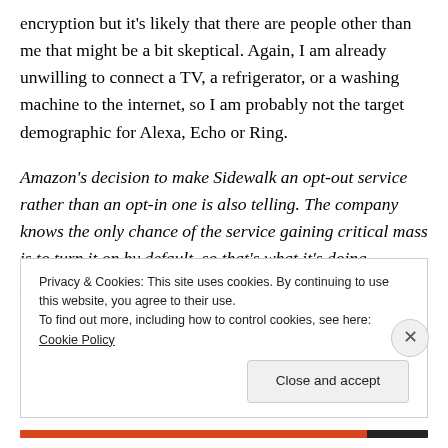encryption but it's likely that there are people other than me that might be a bit skeptical. Again, I am already unwilling to connect a TV, a refrigerator, or a washing machine to the internet, so I am probably not the target demographic for Alexa, Echo or Ring.
Amazon's decision to make Sidewalk an opt-out service rather than an opt-in one is also telling. The company knows the only chance of the service gaining critical mass is to turn it on by default, so that's what it's doing. Fortunately, turning Sidewalk off is relatively painless. It
Privacy & Cookies: This site uses cookies. By continuing to use this website, you agree to their use.
To find out more, including how to control cookies, see here: Cookie Policy
Close and accept